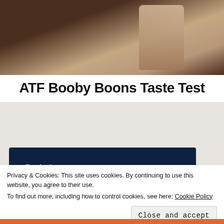[Figure (photo): Photo of a product bag on a dark wooden surface with a spoon, brownish-pink packaging visible]
ATF Booby Boons Taste Test
[Figure (screenshot): Dark navy advertisement banner reading 'Opinions. We all have them!' with a pink 'Start a survey' button and CrowdSignal logo]
Privacy & Cookies: This site uses cookies. By continuing to use this website, you agree to their use.
To find out more, including how to control cookies, see here: Cookie Policy
Close and accept